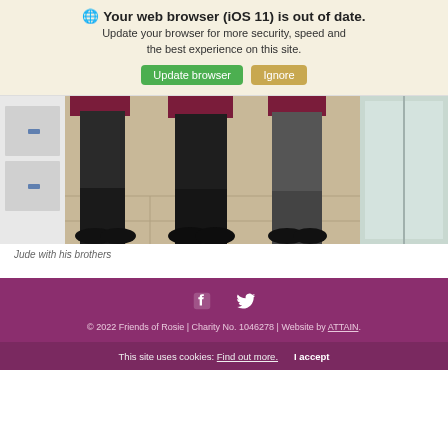🌐 Your web browser (iOS 11) is out of date. Update your browser for more security, speed and the best experience on this site.
Update browser | Ignore
[Figure (photo): Photo showing the lower bodies and shoes of three school-age children wearing dark trousers/grey trousers and dark shoes, with burgundy/maroon school uniform jumpers. They are standing on a light tile floor near a glass door/window. A white cabinet is visible on the left.]
Jude with his brothers
[Figure (infographic): Footer with Facebook and Twitter social icons in white on dark purple background.]
© 2022 Friends of Rosie | Charity No. 1046278 | Website by ATTAIN.
This site uses cookies: Find out more. I accept